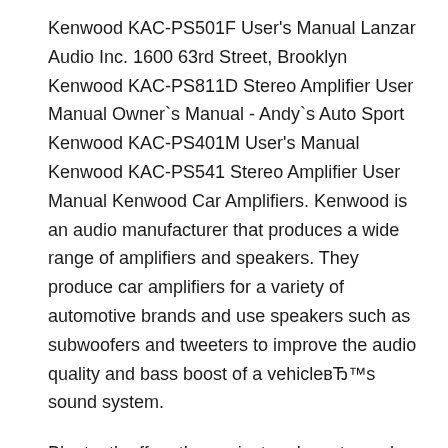Kenwood KAC-PS501F User's Manual Lanzar Audio Inc. 1600 63rd Street, Brooklyn Kenwood KAC-PS811D Stereo Amplifier User Manual Owner`s Manual - Andy`s Auto Sport Kenwood KAC-PS401M User's Manual Kenwood KAC-PS541 Stereo Amplifier User Manual Kenwood Car Amplifiers. Kenwood is an audio manufacturer that produces a wide range of amplifiers and speakers. They produce car amplifiers for a variety of automotive brands and use speakers such as subwoofers and tweeters to improve the audio quality and bass boost of a vehicleвЂ™s sound system.
Bluetooth offers the easiest and most popular connection, KAC-M1824BT is not only your standalone Bluetooth gateway but if used with an in-dash receiver, it will double the power of a typical CD receiver with it's built-in 45Watts x 4 of amplification. A water resistant вЂ¦ 400W 4 ohms 45W x 4 Signal to Noise Ratio: 90 dB Size(inch): (W)5-1/2" x (H)1-